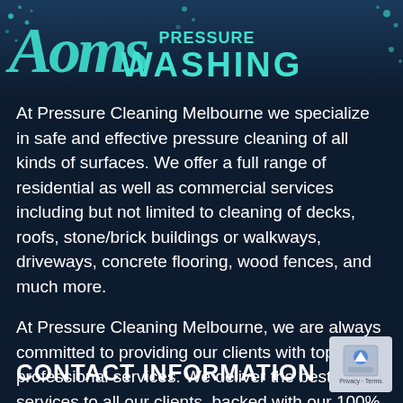[Figure (logo): Pressure Cleaning Melbourne logo with cyan/teal graffiti-style text and 'WASHING' in bold cyan letters on dark navy background with water splash decorative elements]
At Pressure Cleaning Melbourne we specialize in safe and effective pressure cleaning of all kinds of surfaces. We offer a full range of residential as well as commercial services including but not limited to cleaning of decks, roofs, stone/brick buildings or walkways, driveways, concrete flooring, wood fences, and much more.
At Pressure Cleaning Melbourne, we are always committed to providing our clients with top-notch professional services. We deliver the best services to all our clients, backed with our 100% guarantee.
CONTACT INFORMATION